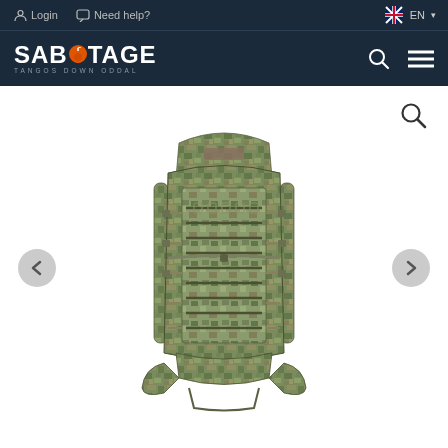Login  Need help?  EN
[Figure (logo): SABOTAGE TANGOS DOWN ODDAL brand logo in white and orange on dark navy background]
[Figure (photo): Military tactical backpack in MultiCam camouflage pattern with MOLLE webbing system, multiple compartments, and shoulder straps, displayed on white background. Navigation arrows on left and right sides with zoom/magnify icon in top right.]